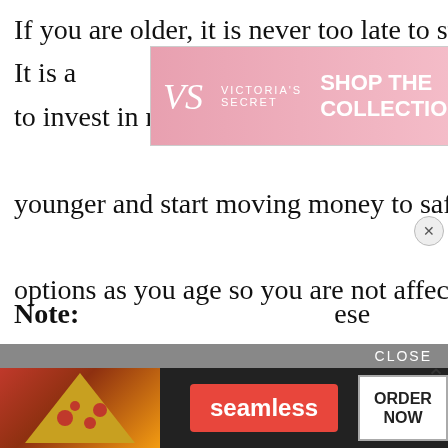If you are older, it is never too late to start. It is a [ad obscures text] hers to invest in riskier stocks when you are younger and start moving money to safer options as you age so you are not affected by the stock market's hi[gh fluctuations. Safer] options include money-[market accounts,] mutual funds with a tru[sted track record,] bonds, and annuities.
[Figure (photo): Victoria's Secret banner advertisement with woman model, VS logo, pink background, 'SHOP THE COLLECTION' text, and 'SHOP NOW' button]
[Figure (photo): Video overlay showing a man and a white dog behind bars, with a play button in the center]
Note: [text obscured by ad] these are m[ost commonly recommended ways to in]vest
[Figure (photo): Seamless food delivery advertisement with pizza image, 'CLOSE' bar, seamless logo, and 'ORDER NOW' button]